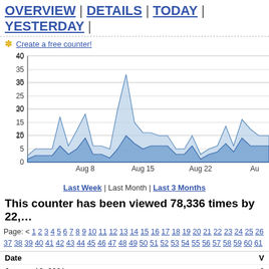OVERVIEW | DETAILS | TODAY | YESTERDAY |
* Create a free counter!
[Figure (area-chart): Area chart showing daily visitor counts over approximately 3 months, with two overlapping area series (light blue fill). Peak around 33-34 near Aug 11. Y-axis 0-40, x-axis shows Aug 8, Aug 15, Aug 22 labels.]
Last Week | Last Month | Last 3 Months
This counter has been viewed 78,336 times by 22,...
Page: < 1 2 3 4 5 6 7 8 9 10 11 12 13 14 15 16 17 18 19 20 21 22 23 24 25 26 37 38 39 40 41 42 43 44 45 46 47 48 49 50 51 52 53 54 55 56 57 58 59 60 61
| Date | V |
| --- | --- |
| January 10, 2021 | 2 |
| January 9, 2021 | 1 |